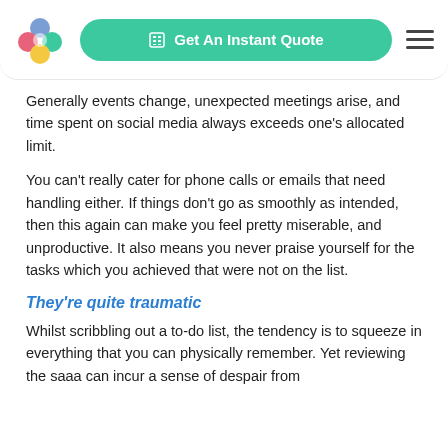Get An Instant Quote
Generally events change, unexpected meetings arise, and time spent on social media always exceeds one's allocated limit.
You can't really cater for phone calls or emails that need handling either. If things don't go as smoothly as intended, then this again can make you feel pretty miserable, and unproductive. It also means you never praise yourself for the tasks which you achieved that were not on the list.
They're quite traumatic
Whilst scribbling out a to-do list, the tendency is to squeeze in everything that you can physically remember. Yet reviewing the saaa can incur a sense of despair from